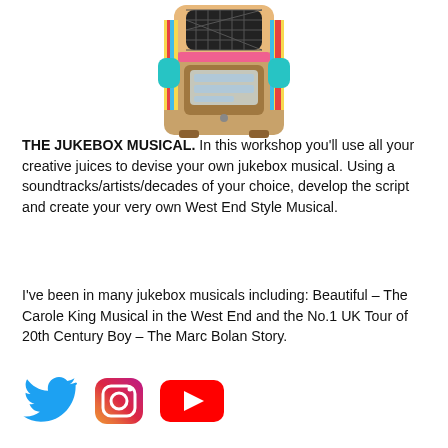[Figure (illustration): Colorful vintage jukebox illustration with teal, pink, yellow and red colors, partially cropped at top of page]
THE JUKEBOX MUSICAL. In this workshop you'll use all your creative juices to devise your own jukebox musical. Using a soundtracks/artists/decades of your choice, develop the script and create your very own West End Style Musical.
I've been in many jukebox musicals including: Beautiful - The Carole King Musical in the West End and the No.1 UK Tour of 20th Century Boy - The Marc Bolan Story.
[Figure (logo): Twitter, Instagram, and YouTube social media icons]